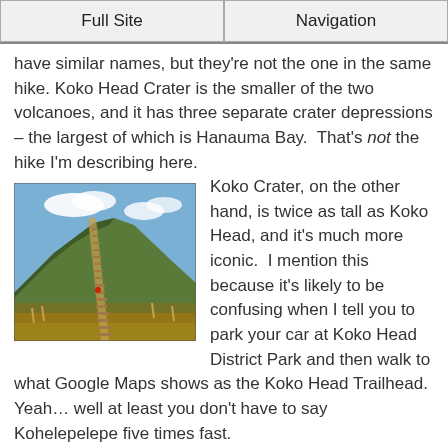Full Site | Navigation
have similar names, but they're not the one in the same hike. Koko Head Crater is the smaller of the two volcanoes, and it has three separate crater depressions – the largest of which is Hanauma Bay. That's not the hike I'm describing here.
[Figure (photo): A steep trail of railway ties/wooden steps climbing the south slope of Koko Crater, a volcanic tuff cone, with dry scrubby vegetation on either side and blue sky with clouds above.]
Koko Crater, on the other hand, is twice as tall as Koko Head, and it's much more iconic. I mention this because it's likely to be confusing when I tell you to park your car at Koko Head District Park and then walk to what Google Maps shows as the Koko Head Trailhead. Yeah… well at least you don't have to say Kohelepelepe five times fast.
If you're still confused, just look for the big tuff cone with a path running in a straight line up the south slope. You can't miss it. So let's talk about that path…